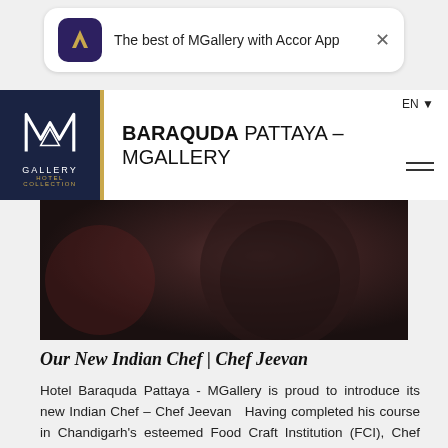[Figure (screenshot): Accor app promotional banner with purple app icon showing a gold 'A' logo and text 'The best of MGallery with Accor App' with a close button]
[Figure (logo): MGallery Hotel Collection logo - white M emblem on dark navy background with gold border, text GALLERY and HOTEL COLLECTION]
BARAQUDA PATTAYA – MGALLERY
[Figure (photo): Dark moody photo of Indian chef in dark clothing]
Our New Indian Chef | Chef Jeevan
Hotel Baraquda Pattaya - MGallery is proud to introduce its new Indian Chef – Chef Jeevan   Having completed his course in Chandigarh's esteemed Food Craft Institution (FCI), Chef Jevan spent years in India mastering the art of...